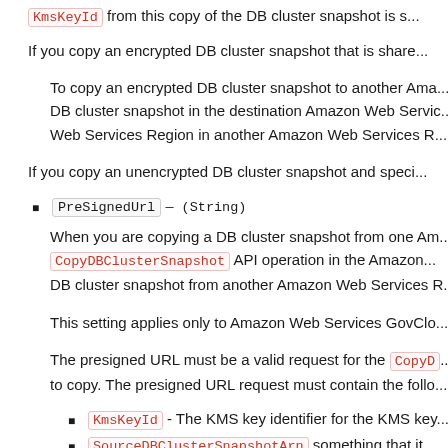KmsKeyId from this copy of the DB cluster snapshot is s...
If you copy an encrypted DB cluster snapshot that is share...
To copy an encrypted DB cluster snapshot to another Ama... DB cluster snapshot in the destination Amazon Web Servic... Web Services Region in another Amazon Web Services R...
If you copy an unencrypted DB cluster snapshot and speci...
PreSignedUrl — (String)
When you are copying a DB cluster snapshot from one Am... CopyDBClusterSnapshot API operation in the Amazon... DB cluster snapshot from another Amazon Web Services R...
This setting applies only to Amazon Web Services GovClo...
The presigned URL must be a valid request for the CopyD... to copy. The presigned URL request must contain the follo...
KmsKeyId - The KMS key identifier for the KMS key...
SourceDBClusterSnapshotArn - something that it...